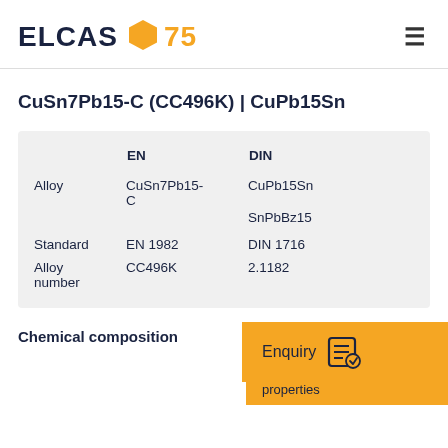ELCAS 75
CuSn7Pb15-C (CC496K) | CuPb15Sn
|  | EN | DIN |
| --- | --- | --- |
| Alloy | CuSn7Pb15-C | CuPb15Sn |
|  |  | SnPbBz15 |
| Standard | EN 1982 | DIN 1716 |
| Alloy number | CC496K | 2.1182 |
Chemical composition
Enquiry